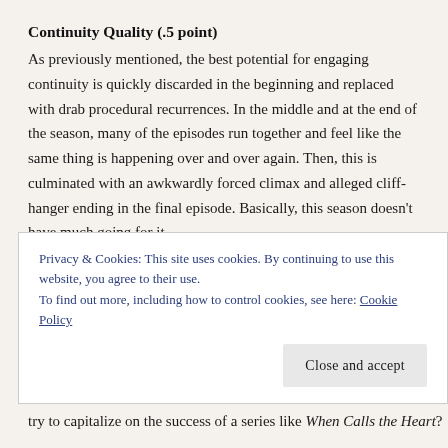Continuity Quality (.5 point)
As previously mentioned, the best potential for engaging continuity is quickly discarded in the beginning and replaced with drab procedural recurrences. In the middle and at the end of the season, many of the episodes run together and feel like the same thing is happening over and over again. Then, this is culminated with an awkwardly forced climax and alleged cliff-hanger ending in the final episode. Basically, this season doesn’t have much going for it.
Conclusion
What else is there to say? Shows like When Hope Calls have a specific
Privacy & Cookies: This site uses cookies. By continuing to use this website, you agree to their use.
To find out more, including how to control cookies, see here: Cookie Policy
try to capitalize on the success of a series like When Calls the Heart?